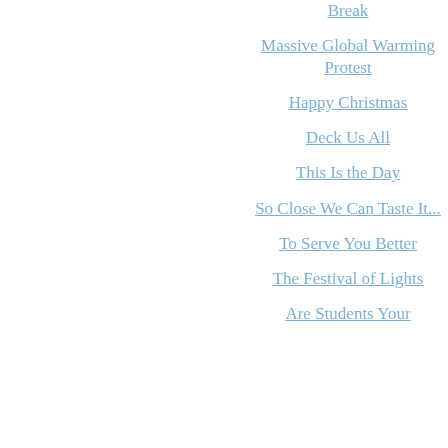Break
Massive Global Warming Protest
Happy Christmas
Deck Us All
This Is the Day
So Close We Can Taste It...
To Serve You Better
The Festival of Lights
Are Students Your